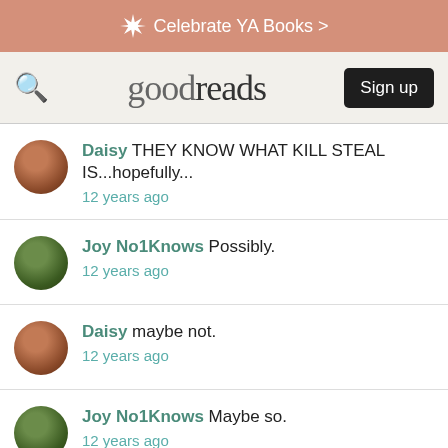Celebrate YA Books >
[Figure (screenshot): Goodreads navigation bar with search icon, goodreads logo, and Sign up button]
Daisy THEY KNOW WHAT KILL STEAL IS...hopefully...
12 years ago
Joy No1Knows Possibly.
12 years ago
Daisy maybe not.
12 years ago
Joy No1Knows Maybe so.
12 years ago
Daisy ... Can we stop?
12 years ago